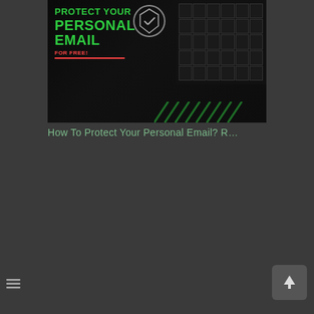[Figure (screenshot): Thumbnail image with dark background showing text 'PROTECT YOUR PERSONAL EMAIL FOR FREE!' in green and red on left side, a circular shield/logo icon in center, and a grid of dark cells on right side. Green diagonal stripes at bottom right.]
How To Protect Your Personal Email? R…